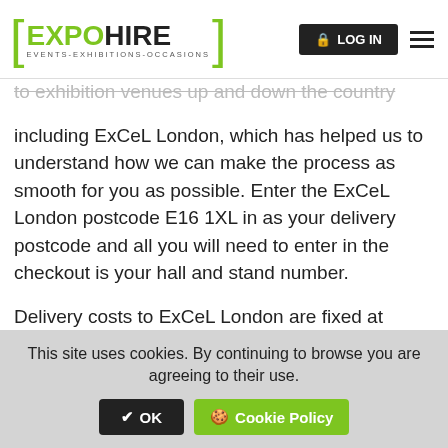EXPO HIRE - EVENTS-EXHIBITIONS-OCCASIONS | LOG IN
to exhibition venues up and down the country including ExCeL London, which has helped us to understand how we can make the process as smooth for you as possible. Enter the ExCeL London postcode E16 1XL in as your delivery postcode and all you will need to enter in the checkout is your hall and stand number.
Delivery costs to ExCeL London are fixed at £100.00 regardless of which day or time we are delivering and collecting, although there may be additional costs if your order is particularly large or heavy to deliver. It is not necessary for you to be at your stand to accept delivery; we can leave it there for you ready for your
This site uses cookies. By continuing to browse you are agreeing to their use. ✔ OK  🍪 Cookie Policy